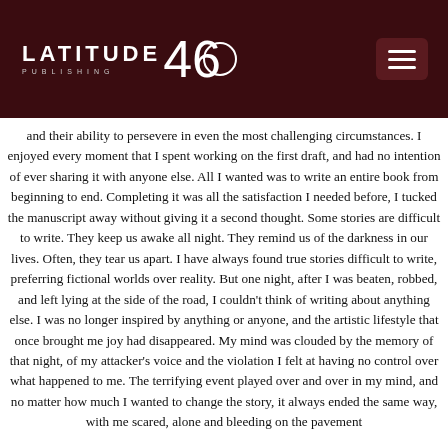[Figure (logo): Latitude 46 Publishing logo on dark red/maroon background with hamburger menu button]
and their ability to persevere in even the most challenging circumstances. I enjoyed every moment that I spent working on the first draft, and had no intention of ever sharing it with anyone else. All I wanted was to write an entire book from beginning to end. Completing it was all the satisfaction I needed before, I tucked the manuscript away without giving it a second thought. Some stories are difficult to write. They keep us awake all night. They remind us of the darkness in our lives. Often, they tear us apart. I have always found true stories difficult to write, preferring fictional worlds over reality. But one night, after I was beaten, robbed, and left lying at the side of the road, I couldn't think of writing about anything else. I was no longer inspired by anything or anyone, and the artistic lifestyle that once brought me joy had disappeared. My mind was clouded by the memory of that night, of my attacker's voice and the violation I felt at having no control over what happened to me. The terrifying event played over and over in my mind, and no matter how much I wanted to change the story, it always ended the same way, with me scared, alone and bleeding on the pavement